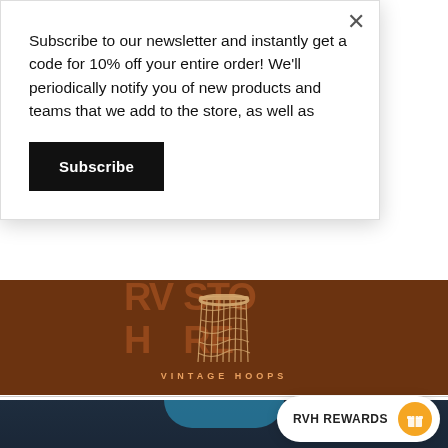Subscribe to our newsletter and instantly get a code for 10% off your entire order! We'll periodically notify you of new products and teams that we add to the store, as well as
Subscribe
[Figure (logo): Vintage Hoops basketball logo on brown banner background with basketball hoop net graphic and 'VINTAGE HOOPS' text]
[Figure (photo): Dark navy blue t-shirt product photo with cyan/blue graphic print showing 'MONT' text partial view]
RVH REWARDS